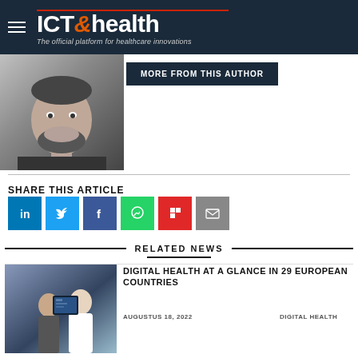ICT&health — The official platform for healthcare innovations
[Figure (photo): Black and white portrait photo of a man with beard, smiling, wearing a dark shirt]
MORE FROM THIS AUTHOR
SHARE THIS ARTICLE
[Figure (infographic): Social share buttons: LinkedIn, Twitter, Facebook, WhatsApp, Flipboard, Email]
RELATED NEWS
[Figure (photo): Two people in medical/professional setting looking at a tablet or screen]
DIGITAL HEALTH AT A GLANCE IN 29 EUROPEAN COUNTRIES
AUGUSTUS 18, 2022
DIGITAL HEALTH